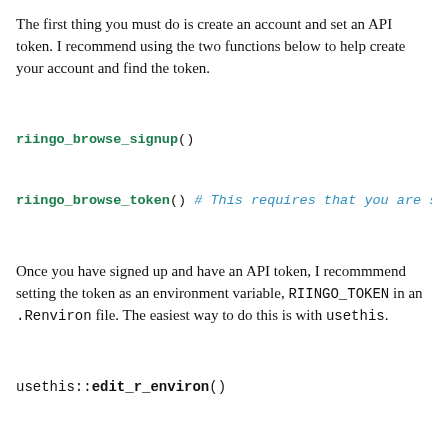The first thing you must do is create an account and set an API token. I recommend using the two functions below to help create your account and find the token.
riingo_browse_signup()
riingo_browse_token() # This requires that you are signe
Once you have signed up and have an API token, I recommmend setting the token as an environment variable, RIINGO_TOKEN in an .Renviron file. The easiest way to do this is with usethis.
usethis::edit_r_environ()
# Then add a line in the environment file that looks li
RIINGO_TOKEN = token_here
Do not put the token in quotes, and restart R after you have set it.
See the documentation ?riingo_get_token() for more information.
Basic example
library(riingo)